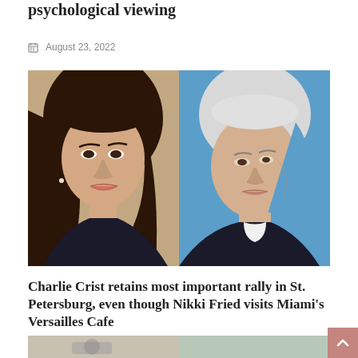psychological viewing
August 23, 2022
[Figure (photo): Split photo of two political candidates: a woman with dark hair on the left and an older man with white hair on the right, against a blue background]
Charlie Crist retains most important rally in St. Petersburg, even though Nikki Fried visits Miami's Versailles Cafe
August 23, 2022
[Figure (photo): Partial view of another news article image at bottom of page]